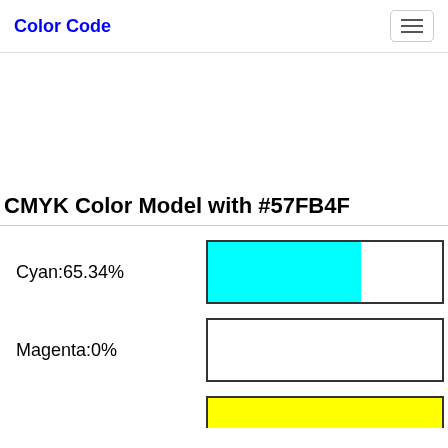Color Code
CMYK Color Model with #57FB4F
Cyan:65.34%
Magenta:0%
Yellow: (partially visible)